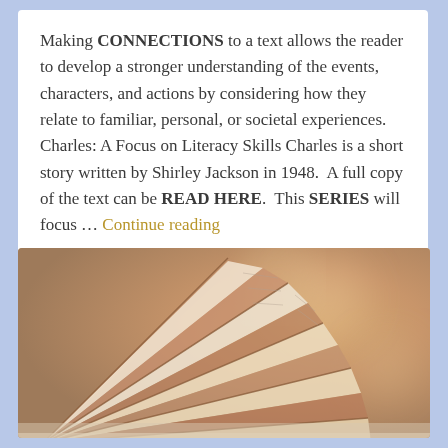Making CONNECTIONS to a text allows the reader to develop a stronger understanding of the events, characters, and actions by considering how they relate to familiar, personal, or societal experiences. Charles: A Focus on Literacy Skills Charles is a short story written by Shirley Jackson in 1948.  A full copy of the text can be READ HERE.  This SERIES will focus … Continue reading
[Figure (photo): Close-up photo of a fanned-open book with pages spread out, warm bokeh background in golden and soft tones.]